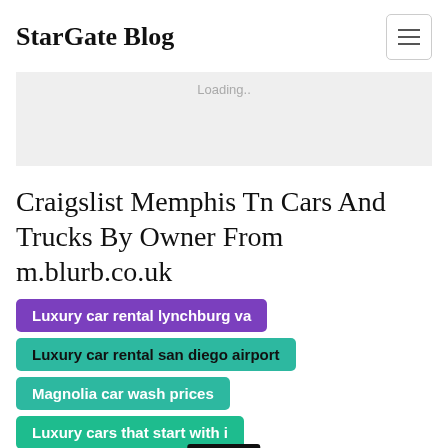StarGate Blog
[Figure (other): Advertisement banner placeholder showing 'Loading...' text on gray background]
Craigslist Memphis Tn Cars And Trucks By Owner From m.blurb.co.uk
Luxury car rental lynchburg va
Luxury car rental san diego airport
Magnolia car wash prices
Luxury cars that start with i